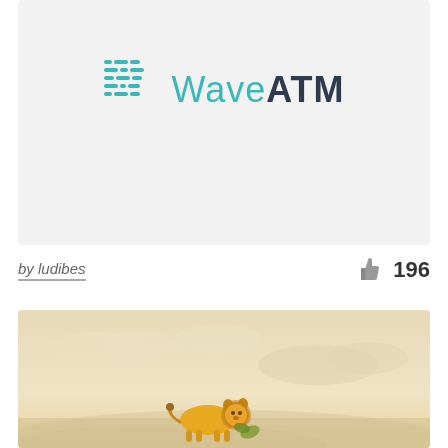[Figure (logo): WaveATM logo: teal wave/lines icon on the left, text 'Wave' in light teal and 'ATM' in bold dark navy on a light gray card background]
by ludibes
196
[Figure (photo): A warm beige/sandy desert scene with soft clouds in the sky, and what appears to be a small yellow animal or lion figure in the lower portion of the image]